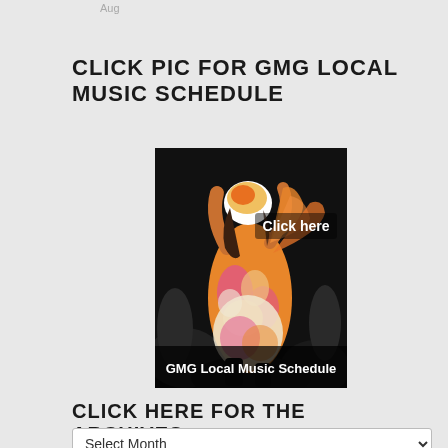Aug
CLICK PIC FOR GMG LOCAL MUSIC SCHEDULE
[Figure (photo): A woman dancing in an orange and pink patterned dress and hat, photographed from behind, with text 'Click here' and 'GMG Local Music Schedule' overlaid on a dark background.]
CLICK HERE FOR THE ARCHIVES
Select Month